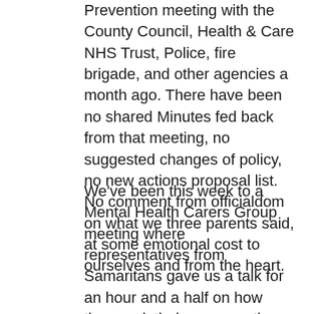Prevention meeting with the County Council, Health & Care NHS Trust, Police, fire brigade, and other agencies a month ago. There have been no shared Minutes fed back from that meeting, no suggested changes of policy, no new actions proposal list. No comment from officialdom on what we three parents said, at some emotional cost to ourselves and from the heart.
We've been this week to a Mental Health Carers Group meeting where representatives from Samaritans gave us a talk for an hour and a half on how they work their purpose, the guidelines they work to, etc. Needless to say, they did not know what AKATHISIA is. The man who delivered most of the talk, knew the word from somewhere, he said, but not what it meant. He sure does now. He went off with our P.A. and a leaflet about akathisia...